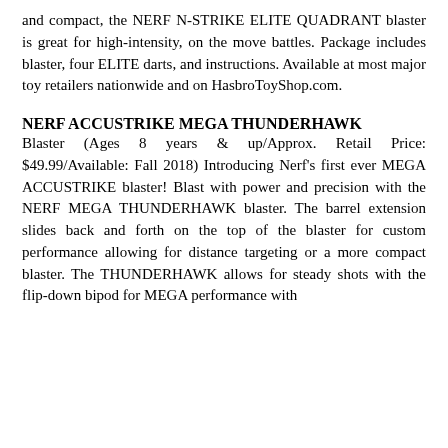and compact, the NERF N-STRIKE ELITE QUADRANT blaster is great for high-intensity, on the move battles. Package includes blaster, four ELITE darts, and instructions. Available at most major toy retailers nationwide and on HasbroToyShop.com.
NERF ACCUSTRIKE MEGA THUNDERHAWK
Blaster (Ages 8 years & up/Approx. Retail Price: $49.99/Available: Fall 2018) Introducing Nerf's first ever MEGA ACCUSTRIKE blaster! Blast with power and precision with the NERF MEGA THUNDERHAWK blaster. The barrel extension slides back and forth on the top of the blaster for custom performance allowing for distance targeting or a more compact blaster. The THUNDERHAWK allows for steady shots with the flip-down bipod for MEGA performance with